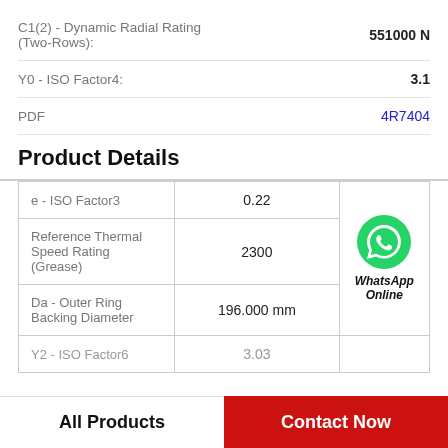C1(2) - Dynamic Radial Rating (Two-Rows): 551000 N
Y0 - ISO Factor4: 3.1
PDF   4R7404
Product Details
| Property | Value |
| --- | --- |
| e - ISO Factor3 | 0.22 |
| Reference Thermal Speed Rating (Grease) | 2300 |
| Da - Outer Ring Backing Diameter | 196.000 mm |
| Y2 - ISO Factor6 | 3.03 |
All Products
Contact Now